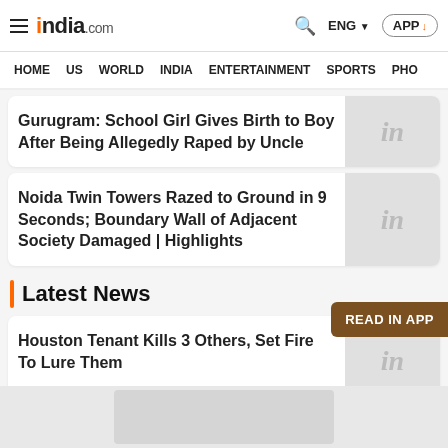india.com — ENG — APP
HOME | US | WORLD | INDIA | ENTERTAINMENT | SPORTS | PHO
Gurugram: School Girl Gives Birth to Boy After Being Allegedly Raped by Uncle
Noida Twin Towers Razed to Ground in 9 Seconds; Boundary Wall of Adjacent Society Damaged | Highlights
Latest News
Houston Tenant Kills 3 Others, Set Fire To Lure Them